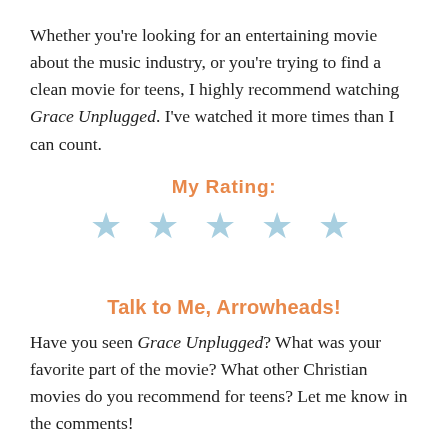Whether you're looking for an entertaining movie about the music industry, or you're trying to find a clean movie for teens, I highly recommend watching Grace Unplugged. I've watched it more times than I can count.
My Rating:
[Figure (other): Five light blue star icons arranged horizontally representing a 5-star rating]
Talk to Me, Arrowheads!
Have you seen Grace Unplugged? What was your favorite part of the movie? What other Christian movies do you recommend for teens? Let me know in the comments!
Aim high, stay strong, and always hit your mark